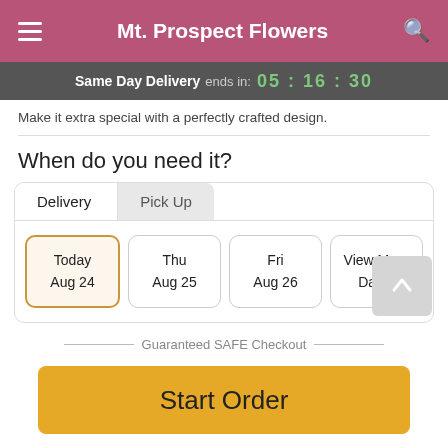Mt. Prospect Flowers
Same Day Delivery ends in: 05 : 16 : 30
Make it extra special with a perfectly crafted design.
When do you need it?
Delivery | Pick Up
Today Aug 24 | Thu Aug 25 | Fri Aug 26 | View More Dates
Guaranteed SAFE Checkout
Start Order